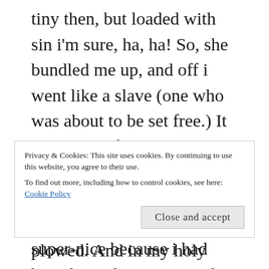tiny then, but loaded with sin i'm sure, ha, ha! So, she bundled me up, and off i went like a slave (one who was about to be set free.) It did always feel so good, when it was over. But i never forgot that one. Maybe the priest had been super-nice because i had been his only customer, the only one whose mother would send him out to church in a blizzard. The thing that i remember most
Privacy & Cookies: This site uses cookies. By continuing to use this website, you agree to their use. To find out more, including how to control cookies, see here: Cookie Policy
Close and accept
plowed. And in my holy exuberance i ran to